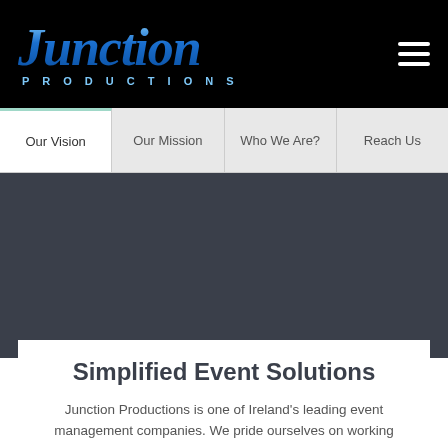[Figure (logo): Junction Productions logo with blue italic serif text and 'PRODUCTIONS' in spaced caps below, on black background]
Our Vision | Our Mission | Who We Are? | Reach Us
Simplified Event Solutions
Junction Productions is one of Ireland's leading event management companies. We pride ourselves on working with top class entertainers, artists and catering services